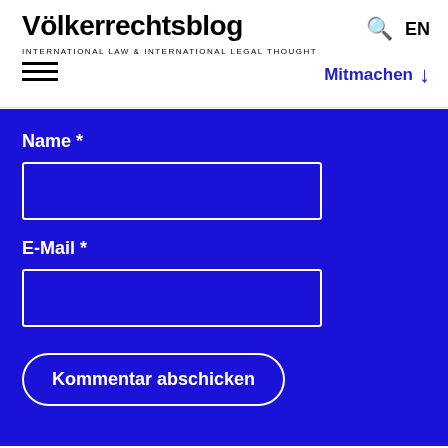Völkerrechtsblog
INTERNATIONAL LAW & INTERNATIONAL LEGAL THOUGHT
EN
Mitmachen ↓
Name *
E-Mail *
Kommentar abschicken